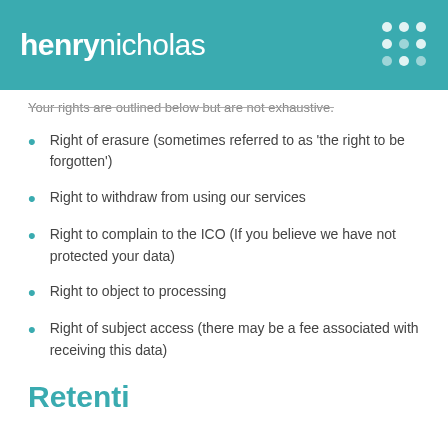henrynicholas
Your rights are outlined below but are not exhaustive.
Right of erasure (sometimes referred to as 'the right to be forgotten')
Right to withdraw from using our services
Right to complain to the ICO (If you believe we have not protected your data)
Right to object to processing
Right of subject access (there may be a fee associated with receiving this data)
Retention